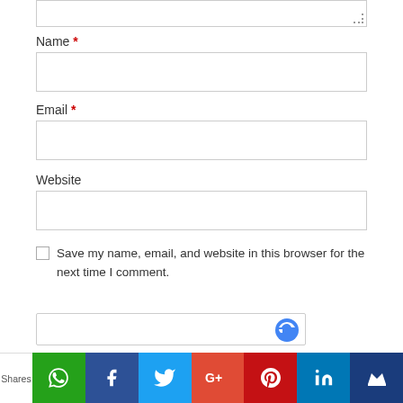Name *
[Figure (screenshot): Empty text input field for Name]
Email *
[Figure (screenshot): Empty text input field for Email]
Website
[Figure (screenshot): Empty text input field for Website]
Save my name, email, and website in this browser for the next time I comment.
[Figure (screenshot): Social sharing bar with WhatsApp, Facebook, Twitter, Google+, Pinterest, LinkedIn, and another icon. Label shows Shares on far left.]